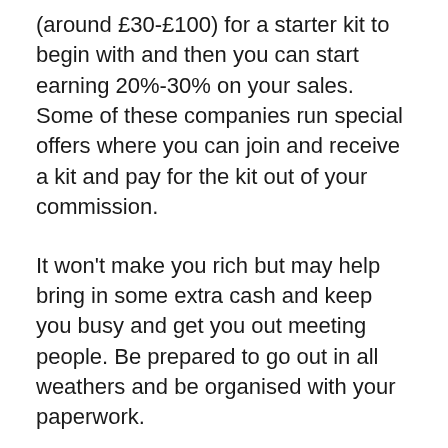(around £30-£100) for a starter kit to begin with and then you can start earning 20%-30% on your sales. Some of these companies run special offers where you can join and receive a kit and pay for the kit out of your commission.
It won't make you rich but may help bring in some extra cash and keep you busy and get you out meeting people. Be prepared to go out in all weathers and be organised with your paperwork.
Be aware of other MLM jobs that are not what they seem. After all, these are selling jobs and the big bosses make money from new recruits.